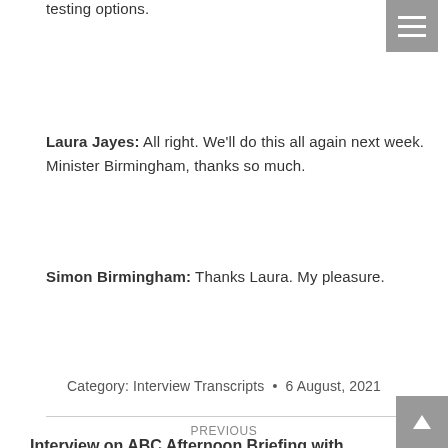testing options.
Laura Jayes: All right. We'll do this all again next week. Minister Birmingham, thanks so much.
Simon Birmingham: Thanks Laura. My pleasure.
Category: Interview Transcripts • 6 August, 2021
PREVIOUS
Interview on ABC Afternoon Briefing with Patricia